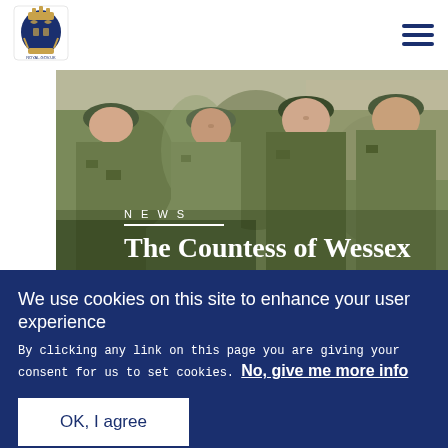[Figure (logo): Royal coat of arms logo in top left corner]
[Figure (photo): Photograph of the Countess of Wessex with soldiers in camouflage military uniforms]
NEWS
The Countess of Wessex
We use cookies on this site to enhance your user experience
By clicking any link on this page you are giving your consent for us to set cookies. No, give me more info
OK, I agree